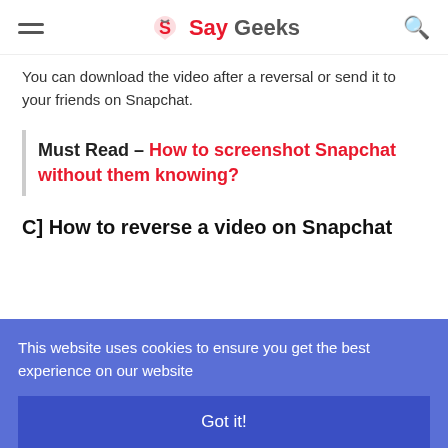SayGeeks
You can download the video after a reversal or send it to your friends on Snapchat.
Must Read – How to screenshot Snapchat without them knowing?
C] How to reverse a video on Snapchat
This website uses cookies to ensure you get the best experience on our website
Got it!